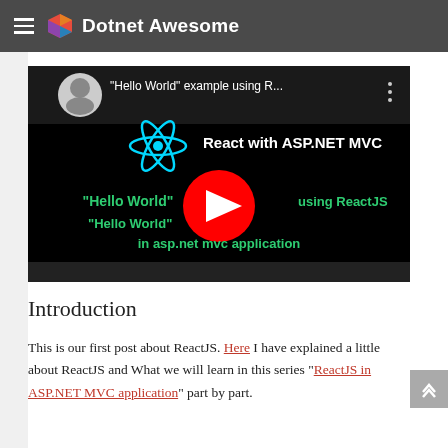Dotnet Awesome
[Figure (screenshot): YouTube video thumbnail showing 'Hello World' example using ReactJS in ASP.NET MVC application. Features a React logo, the text 'React with ASP.NET MVC', a YouTube play button, and text '"Hello World" example using ReactJS in asp.net mvc application'.]
Introduction
This is our first post about ReactJS. Here I have explained a little about ReactJS and What we will learn in this series "ReactJS in ASP.NET MVC application" part by part.